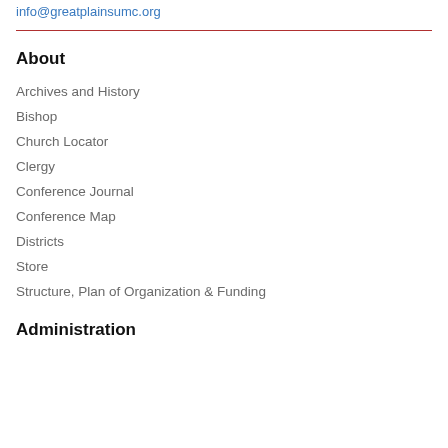info@greatplainsumc.org
About
Archives and History
Bishop
Church Locator
Clergy
Conference Journal
Conference Map
Districts
Store
Structure, Plan of Organization & Funding
Administration